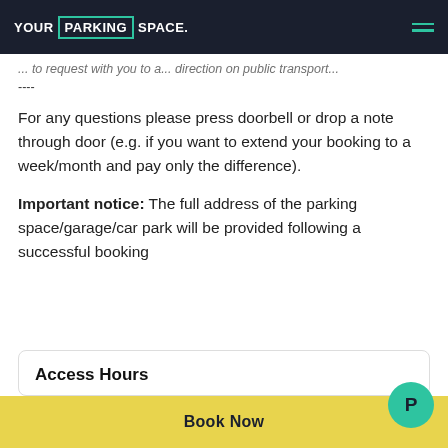YOUR PARKING SPACE.
... to request with you to a... direction on public transport...
----
For any questions please press doorbell or drop a note through door (e.g. if you want to extend your booking to a week/month and pay only the difference).
Important notice: The full address of the parking space/garage/car park will be provided following a successful booking
Access Hours
Book Now